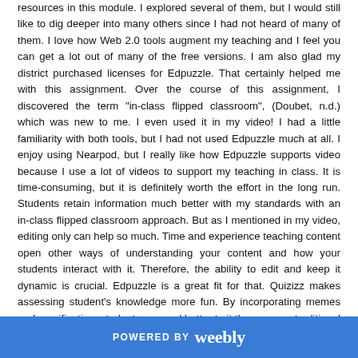resources in this module.  I explored several of them, but I would still like to dig deeper into many others since I had not heard of many of them.  I love how Web 2.0 tools augment my teaching and I feel you can get a lot out of many of the free versions.  I am also glad my district purchased licenses for Edpuzzle.  That certainly helped me with this assignment.  Over the course of this assignment, I discovered the term "in-class flipped classroom", (Doubet, n.d.) which was new to me.  I even used it in my video!  I had a little familiarity with both tools, but I had not used Edpuzzle much at all.  I enjoy using Nearpod, but I really like how Edpuzzle supports video because I use a lot of videos to support my teaching in class.  It is time-consuming, but it is definitely worth the effort in the long run.  Students retain information much better with my standards with an in-class flipped classroom approach.  But as I mentioned in my video, editing only can help so much.  Time and experience teaching content open other ways of understanding your content and how your students interact with it.  Therefore, the ability to edit and keep it dynamic is crucial.  Edpuzzle is a great fit for that.  Quizizz makes assessing student's knowledge more fun.  By incorporating memes and gamification, students respond better to it than a more traditional approach to quizzes/exams.  Both
POWERED BY weebly